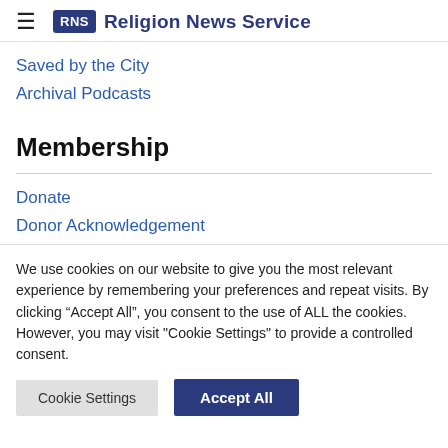RNS Religion News Service
Saved by the City
Archival Podcasts
Membership
Donate
Donor Acknowledgement
We use cookies on our website to give you the most relevant experience by remembering your preferences and repeat visits. By clicking “Accept All”, you consent to the use of ALL the cookies. However, you may visit "Cookie Settings" to provide a controlled consent.